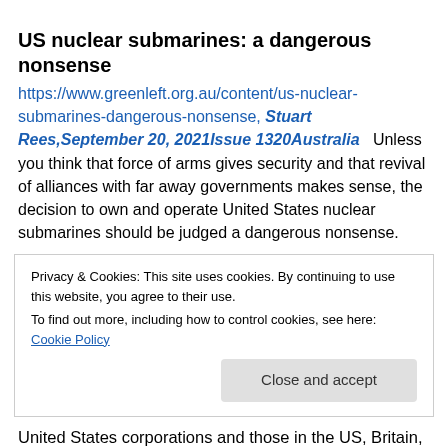US nuclear submarines: a dangerous nonsense
https://www.greenleft.org.au/content/us-nuclear-submarines-dangerous-nonsense, Stuart Rees,September 20, 2021Issue 1320Australia   Unless you think that force of arms gives security and that revival of alliances with far away governments makes sense, the decision to own and operate United States nuclear submarines should be judged a dangerous nonsense.
Privacy & Cookies: This site uses cookies. By continuing to use this website, you agree to their use.
To find out more, including how to control cookies, see here: Cookie Policy
Close and accept
United States corporations and those in the US, Britain,